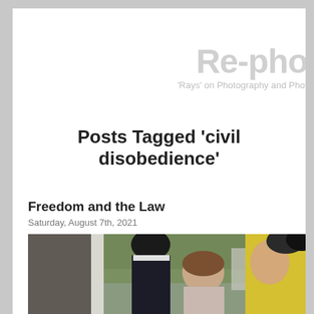Re-phot
'Rays' on Photography and Photo
Posts Tagged ‘civil disobedience’
Freedom and the Law
Saturday, August 7th, 2021
[Figure (photo): Photograph showing people being detained or confronted by police officers in uniform near what appears to be a London landmark (Westminster area). One officer wears a traditional police cap, another wears a high-visibility yellow jacket. A civilian woman with brown hair is visible between the officers.]